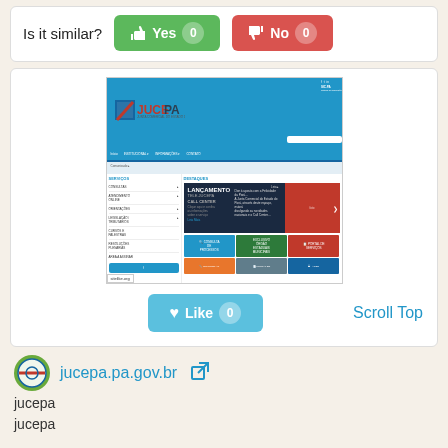Is it similar?
[Figure (screenshot): Yes button (green, thumbs up icon, count badge 0) and No button (red, thumbs down icon, count badge 0)]
[Figure (screenshot): Screenshot of jucepa.pa.gov.br website showing JUCEPA header, navigation, sidebar with SERVIÇOS menu items, and DESTAQUES section with banner and icon grid. Sitelike.org watermark visible.]
Scroll Top
[Figure (other): Like button in teal/blue color with heart icon and count badge showing 0]
[Figure (logo): JUCEPA favicon/logo - circular seal with green and red colors]
jucepa.pa.gov.br
jucepa
jucepa